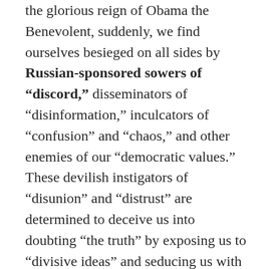the glorious reign of Obama the Benevolent, suddenly, we find ourselves besieged on all sides by Russian-sponsored sowers of “discord,” disseminators of “disinformation,” inculcators of “confusion” and “chaos,” and other enemies of our “democratic values.” These devilish instigators of “disunion” and “distrust” are determined to deceive us into doubting “the truth” by exposing us to “divisive ideas” and seducing us with their cynical skepticism into questioning the integrity of our political leaders, our intelligence agencies, and the corporate media, who would never, ever dream of lying to us … or so goes the new